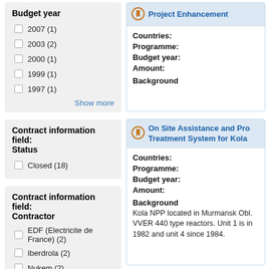Budget year
2007 (1)
2003 (2)
2000 (1)
1999 (1)
1997 (1)
Show more
Contract information field: Status
Closed (18)
Contract information field: Contractor
EDF (Electricite de France) (2)
Iberdrola (2)
Nukem (2)
Riskaudit (2)
Project Enhancement
Countries:
Programme:
Budget year:
Amount:
Background
On Site Assistance and Pro Treatment System for Kola
Countries:
Programme:
Budget year:
Amount:
Background
Kola NPP located in Murmansk Obl. VVER 440 type reactors. Unit 1 is in 1982 and unit 4 since 1984.